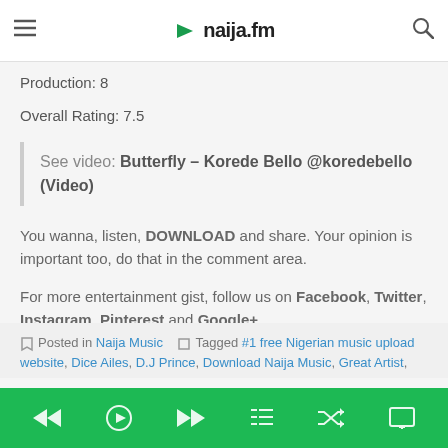naija.fm
Production: 8
Overall Rating: 7.5
See video: Butterfly – Korede Bello @koredebello (Video)
You wanna, listen, DOWNLOAD and share. Your opinion is important too, do that in the comment area.
For more entertainment gist, follow us on Facebook, Twitter, Instagram, Pinterest and Google+.
Posted in Naija Music   Tagged #1 free Nigerian music upload website, Dice Ailes, DJ Prince, Download Naija Music, Great Artist,